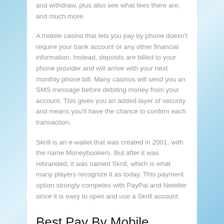and withdraw, plus also see what fees there are, and much more.
A mobile casino that lets you pay by phone doesn't require your bank account or any other financial information. Instead, deposits are billed to your phone provider and will arrive with your next monthly phone bill. Many casinos will send you an SMS message before debiting money from your account. This gives you an added layer of security and means you'll have the chance to confirm each transaction.
Skrill is an e-wallet that was created in 2001, with the name Moneybookers. But after it was rebranded, it was named Skrill, which is what many players recognize it as today. This payment option strongly competes with PayPal and Neteller since it is easy to open and use a Skrill account.
Best Pay By Mobile